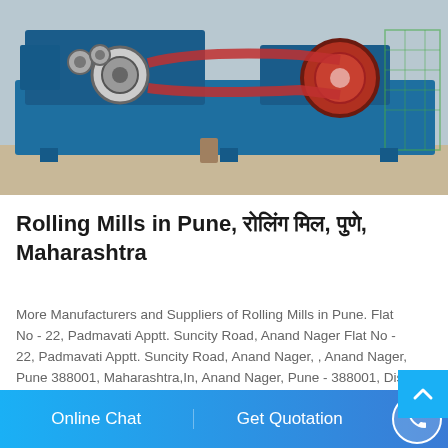[Figure (photo): Industrial rolling mill machine, large blue heavy machinery with rollers and belt drive, photographed outdoors on a concrete surface]
Rolling Mills in Pune, रोलिंग मिल, पुणे, Maharashtra
More Manufacturers and Suppliers of Rolling Mills in Pune. Flat No - 22, Padmavati Apptt. Suncity Road, Anand Nager Flat No - 22, Padmavati Apptt. Suncity Road, Anand Nager, , Anand Nager, Pune 388001, Maharashtra,In, Anand Nager, Pune - 388001, Dist. Pune, Maharashtra
Online Chat | Get Quotation